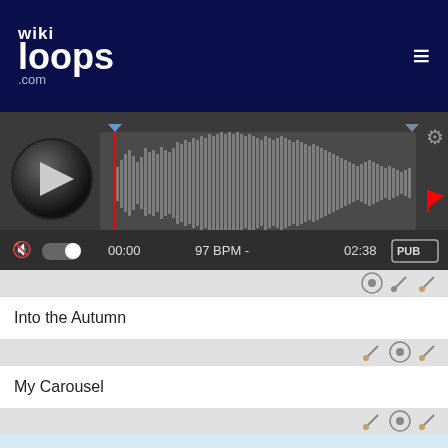[Figure (screenshot): wikiloops.com audio player interface screenshot showing play button, waveform, 97 BPM, 00:00 to 02:38 duration, and PUB badge]
Into the Autumn
My Carousel
wikiloops.com usa i Cookies per fornirti la miglior esperienza di navigazione.
Leggi di più nella nostra nota sulla tutela dei dati personali .